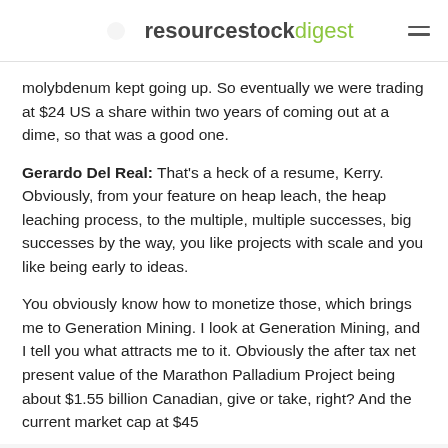resourcestockdigest
molybdenum kept going up. So eventually we were trading at $24 US a share within two years of coming out at a dime, so that was a good one.
Gerardo Del Real: That's a heck of a resume, Kerry. Obviously, from your feature on heap leach, the heap leaching process, to the multiple, multiple successes, big successes by the way, you like projects with scale and you like being early to ideas.
You obviously know how to monetize those, which brings me to Generation Mining. I look at Generation Mining, and I tell you what attracts me to it. Obviously the after tax net present value of the Marathon Palladium Project being about $1.55 billion Canadian, give or take, right? And the current market cap at $45